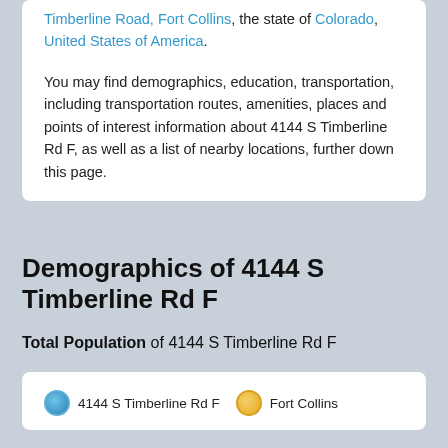Timberline Road, Fort Collins, the state of Colorado, United States of America. You may find demographics, education, transportation, including transportation routes, amenities, places and points of interest information about 4144 S Timberline Rd F, as well as a list of nearby locations, further down this page.
Demographics of 4144 S Timberline Rd F
Total Population of 4144 S Timberline Rd F
[Figure (other): Legend showing two colored circles: blue circle labeled '4144 S Timberline Rd F' and yellow/orange circle labeled 'Fort Collins']